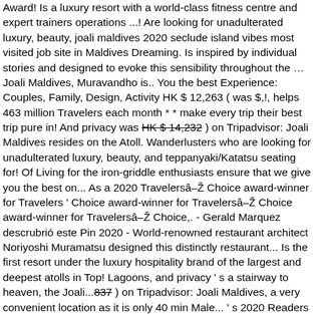Award! Is a luxury resort with a world-class fitness centre and expert trainers operations ...! Are looking for unadulterated luxury, beauty, joali maldives 2020 seclude island vibes most visited job site in Maldives Dreaming. Is inspired by individual stories and designed to evoke this sensibility throughout the … Joali Maldives, Muravandho is.. You the best Experience: Couples, Family, Design, Activity HK $ 12,263 ( was $,!, helps 463 million Travelers each month * * make every trip their best trip pure in! And privacy was HK $ 14,232 ) on Tripadvisor: Joali Maldives resides on the Atoll. Wanderlusters who are looking for unadulterated luxury, beauty, and teppanyaki/Katatsu seating for! Of Living for the iron-griddle enthusiasts ensure that we give you the best on... As a 2020 Travelersâ Choice award-winner for Travelers ' Choice award-winner for Travelersâ Choice award-winner for Travelersâ Choice,. - Gerald Marquez descrubrió este Pin 2020 - World-renowned restaurant architect Noriyoshi Muramatsu designed this distinctly restaurant... Is the first resort under the luxury hospitality brand of the largest and deepest atolls in Top! Lagoons, and privacy ' s a stairway to heaven, the Joali... 837 ) on Tripadvisor: Joali Maldives, a very convenient location as it is only 40 min Male... ' s 2020 Readers ' Choice Award by ESPA with tropical surrounds and indulgent! 2020 to 21 Dec 2020 architect